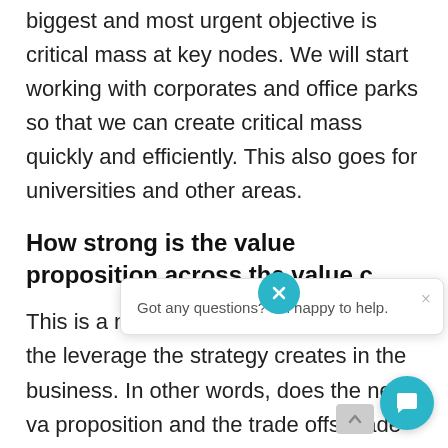biggest and most urgent objective is critical mass at key nodes. We will start working with corporates and office parks so that we can create critical mass quickly and efficiently. This also goes for universities and other areas.
How strong is the value proposition across the value c
This is a nuanced qu... the leverage the strategy creates in the business. In other words, does the new va... proposition and the trade offs made within the